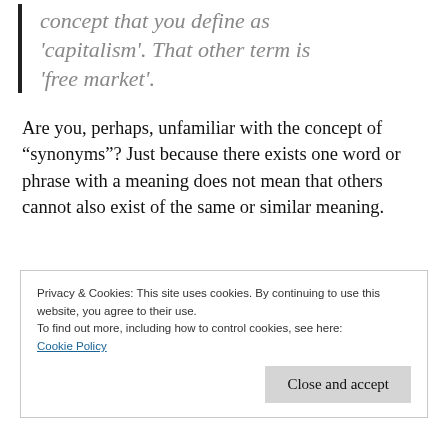concept that you define as 'capitalism'. That other term is 'free market'.
Are you, perhaps, unfamiliar with the concept of “synonyms”? Just because there exists one word or phrase with a meaning does not mean that others cannot also exist of the same or similar meaning.
Privacy & Cookies: This site uses cookies. By continuing to use this website, you agree to their use.
To find out more, including how to control cookies, see here: Cookie Policy